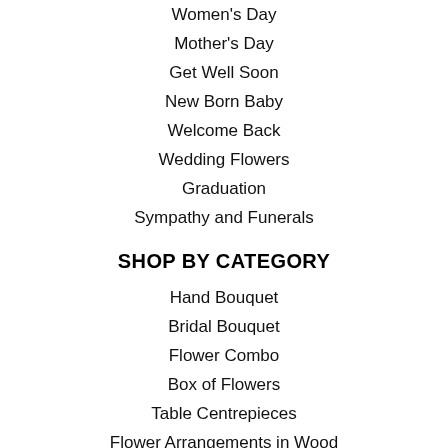Women's Day
Mother's Day
Get Well Soon
New Born Baby
Welcome Back
Wedding Flowers
Graduation
Sympathy and Funerals
SHOP BY CATEGORY
Hand Bouquet
Bridal Bouquet
Flower Combo
Box of Flowers
Table Centrepieces
Flower Arrangements in Wood
Florist Collections
Wedding Centrepieces